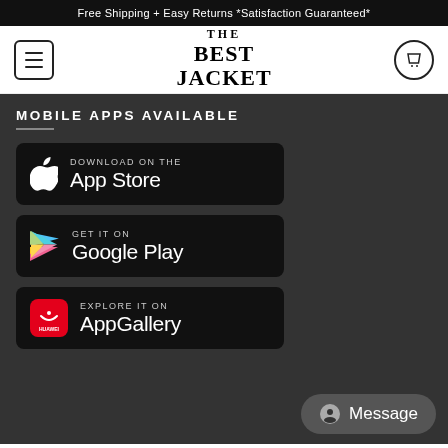Free Shipping + Easy Returns *Satisfaction Guaranteed*
[Figure (logo): The Best Jacket logo with hamburger menu and cart icon]
MOBILE APPS AVAILABLE
[Figure (infographic): Download on the App Store button (black, Apple logo)]
[Figure (infographic): GET IT ON Google Play button (black, Google Play logo)]
[Figure (infographic): EXPLORE IT ON AppGallery button (black, Huawei logo)]
Message